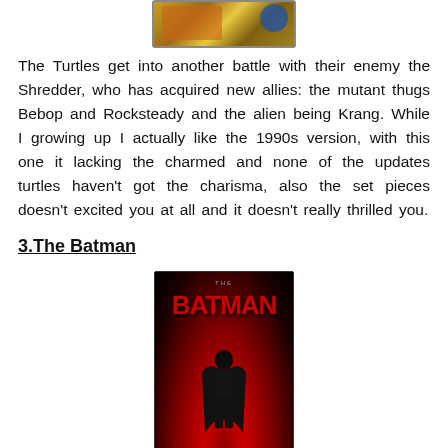[Figure (photo): Top portion of a movie/game cover image showing colorful action scene, partially cropped at top of page]
The Turtles get into another battle with their enemy the Shredder, who has acquired new allies: the mutant thugs Bebop and Rocksteady and the alien being Krang. While I growing up I actually like the 1990s version, with this one it lacking the charmed and none of the updates turtles haven't got the charisma, also the set pieces doesn't excited you at all and it doesn't really thrilled you.
3.The Batman
[Figure (photo): The Batman movie poster with dark red background, large red BATMAN text, and silhouette of Batman figure in dark suit]